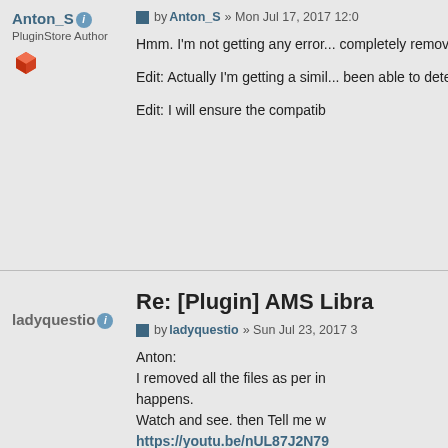Anton_S
PluginStore Author
by Anton_S » Mon Jul 17, 2017 12:0
Hmm. I'm not getting any error... completely removing both and
Edit: Actually I'm getting a simil... been able to determine the cau
Edit: I will ensure the compatib
ladyquestio
Re: [Plugin] AMS Libra
by ladyquestio » Sun Jul 23, 2017 3
Anton:
I removed all the files as per in... happens.
Watch and see. then Tell me w
https://youtu.be/nUL87J2N79